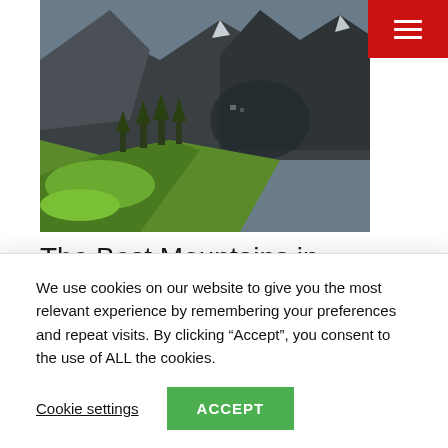[Figure (photo): Alpine mountain landscape with green meadows, conifer trees, rocky peaks, and a valley in the background — Swiss Alps scenery]
The Best Mountains in Switzerland to visit (and climb) ★
TRAVEL TIPS | TRAVEL GUIDE
We use cookies on our website to give you the most relevant experience by remembering your preferences and repeat visits. By clicking "Accept", you consent to the use of ALL the cookies.